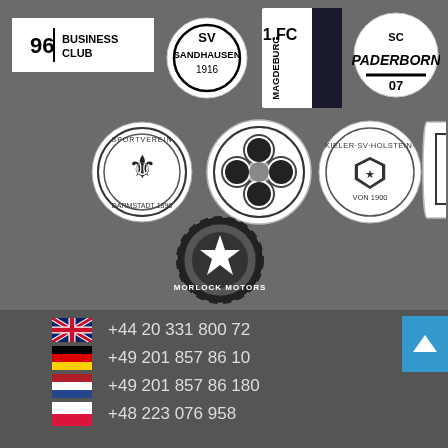[Figure (logo): Grid of sports club and business logos including 96 Business Club, SV Sandhausen 1916, 1.FC Magdeburg, SC Paderborn 07, SV Darmstadt 1898, Shamrock/clover club, Kieler SV Holstein von 1900, Jahn Regensburg, and Morlock Motors]
+44 20 331 800 72
+49 201 857 86 10
+49 201 857 86 180
+48 223 076 958